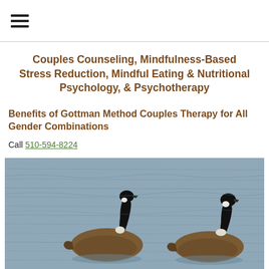☰ (hamburger menu icon)
Couples Counseling, Mindfulness-Based Stress Reduction, Mindful Eating & Nutritional Psychology, & Psychotherapy
Benefits of Gottman Method Couples Therapy for All Gender Combinations
Call 510-594-8224
[Figure (photo): Two Canada geese swimming on a lake or pond with rippled water surface. The geese have black heads and necks with white chin patches and brown bodies.]